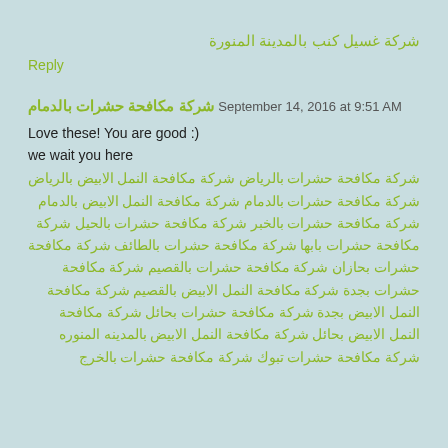شركة غسيل كنب بالمدينة المنورة
Reply
شركة مكافحة حشرات بالدمام September 14, 2016 at 9:51 AM
Love these! You are good :)
we wait you here
شركة مكافحة حشرات بالرياض شركة مكافحة النمل الابيض بالرياض شركة مكافحة حشرات بالدمام شركة مكافحة النمل الابيض بالدمام شركة مكافحة حشرات بالخبر شركة مكافحة حشرات بالحيل شركة مكافحة حشرات بابها شركة مكافحة حشرات بالطائف شركة مكافحة حشرات بحازان شركة مكافحة حشرات بالقصيم شركة مكافحة حشرات بجدة شركة مكافحة النمل الابيض بالقصيم شركة مكافحة النمل الابيض بجدة شركة مكافحة حشرات بحائل شركة مكافحة النمل الابيض بحائل شركة مكافحة النمل الابيض بالمدينه المنوره شركة مكافحة حشرات تبوك شركة مكافحة حشرات بالخرج